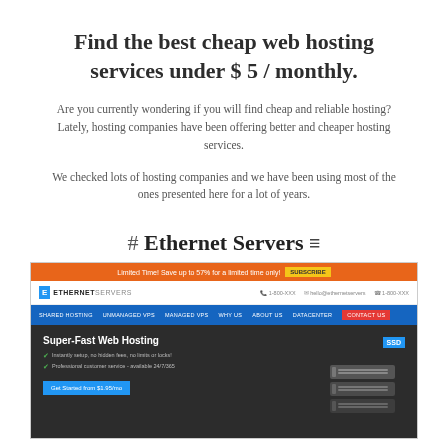Find the best cheap web hosting services under $ 5 / monthly.
Are you currently wondering if you will find cheap and reliable hosting? Lately, hosting companies have been offering better and cheaper hosting services.
We checked lots of hosting companies and we have been using most of the ones presented here for a lot of years.
# Ethernet Servers ≡
[Figure (screenshot): Screenshot of Ethernet Servers website showing orange promotional banner, logo, blue navigation bar, and dark hero section with 'Super-Fast Web Hosting' text, server image with SSD badge, and carousel dots]